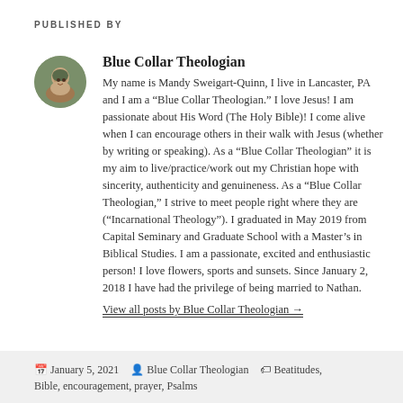PUBLISHED BY
[Figure (photo): Circular avatar photo of the author Blue Collar Theologian, showing a person outdoors]
Blue Collar Theologian
My name is Mandy Sweigart-Quinn, I live in Lancaster, PA and I am a “Blue Collar Theologian.” I love Jesus! I am passionate about His Word (The Holy Bible)! I come alive when I can encourage others in their walk with Jesus (whether by writing or speaking). As a “Blue Collar Theologian” it is my aim to live/practice/work out my Christian hope with sincerity, authenticity and genuineness. As a “Blue Collar Theologian,” I strive to meet people right where they are (“Incarnational Theology”). I graduated in May 2019 from Capital Seminary and Graduate School with a Master’s in Biblical Studies. I am a passionate, excited and enthusiastic person! I love flowers, sports and sunsets. Since January 2, 2018 I have had the privilege of being married to Nathan.
View all posts by Blue Collar Theologian →
January 5, 2021  Blue Collar Theologian  Beatitudes, Bible, encouragement, prayer, Psalms